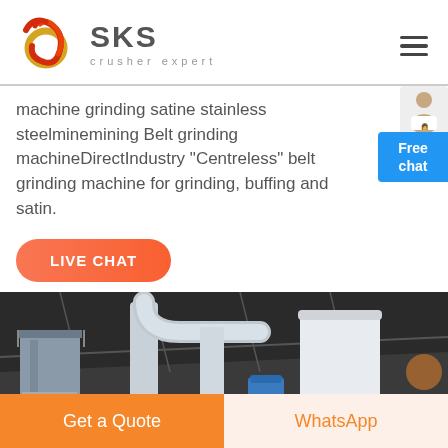[Figure (logo): SKS crusher expert logo with red/gold circular ribbon graphic and grey SKS text]
machine grinding satine stainless steelminemining Belt grinding machineDirectIndustry "Centreless" belt grinding machine for grinding, buffing and satin.
[Figure (screenshot): Blue Free chat button widget on right side with female avatar above]
[Figure (photo): Industrial grinding/milling machine equipment with large cylindrical tubes, dust collector and white storage tanks under a dark metal roof]
Get a Quote   WhatsApp